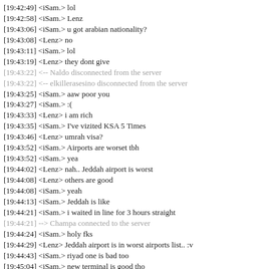[19:42:49] <iSam.> lol
[19:42:58] <iSam.> Lenz
[19:43:06] <iSam.> u got arabian nationality?
[19:43:08] <Lenz> no
[19:43:11] <iSam.> lol
[19:43:19] <Lenz> they dont give
[19:43:22] <-- Naldo disconnected from the server
[19:43:22] <-- elkillerasesino disconnected from the server
[19:43:25] <iSam.> aaw poor you
[19:43:27] <iSam.> :(
[19:43:33] <Lenz> i am rich
[19:43:35] <iSam.> I've vizited KSA 5 Times
[19:43:46] <Lenz> umrah visa?
[19:43:52] <iSam.> Airports are worset tbh
[19:43:52] <iSam.> yea
[19:44:02] <Lenz> nah.. Jeddah airport is worst
[19:44:08] <Lenz> others are good
[19:44:08] <iSam.> yeah
[19:44:13] <iSam.> Jeddah is like
[19:44:21] <iSam.> i waited in line for 3 hours straight
[19:44:21] --> Champa connected to the server
[19:44:24] <iSam.> holy fks
[19:44:29] <Lenz> Jeddah airport is in worst airports list.. :v
[19:44:43] <iSam.> riyad one is bad too
[19:45:04] <iSam.> new terminal is good tho